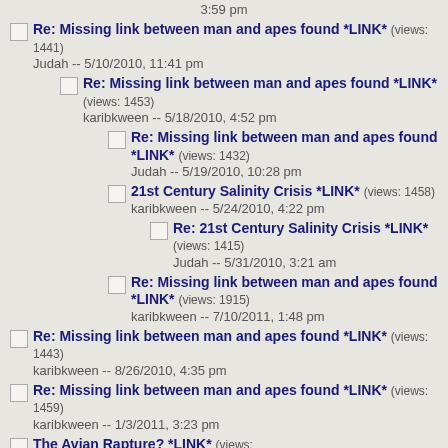3:59 pm
Re: Missing link between man and apes found *LINK* (views: 1441)
Judah -- 5/10/2010, 11:41 pm
Re: Missing link between man and apes found *LINK* (views: 1453)
karibkween -- 5/18/2010, 4:52 pm
Re: Missing link between man and apes found *LINK* (views: 1432)
Judah -- 5/19/2010, 10:28 pm
21st Century Salinity Crisis *LINK* (views: 1458)
karibkween -- 5/24/2010, 4:22 pm
Re: 21st Century Salinity Crisis *LINK* (views: 1415)
Judah -- 5/31/2010, 3:21 am
Re: Missing link between man and apes found *LINK* (views: 1915)
karibkween -- 7/10/2011, 1:48 pm
Re: Missing link between man and apes found *LINK* (views: 1443)
karibkween -- 8/26/2010, 4:35 pm
Re: Missing link between man and apes found *LINK* (views: 1459)
karibkween -- 1/3/2011, 3:23 pm
The Avian Rapture? *LINK* (views: ...